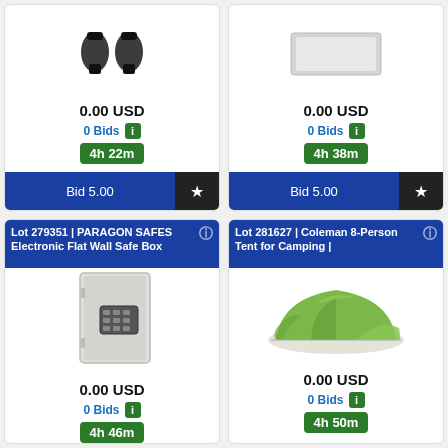[Figure (photo): Two black garden hose connectors/fittings on white background]
0.00 USD
0 Bids
4h 22m
Bid 5.00
[Figure (photo): Gray wall panel or flat board on white background]
0.00 USD
0 Bids
4h 38m
Bid 5.00
Lot 279351 | PARAGON SAFES Electronic Flat Wall Safe Box
[Figure (photo): Paragon Safes electronic flat wall safe box, light gray color with digital keypad]
0.00 USD
0 Bids
4h 46m
Lot 281627 | Coleman 8-Person Tent for Camping |
[Figure (photo): Coleman 8-Person tent for camping, green dome tent on white background]
0.00 USD
0 Bids
4h 50m